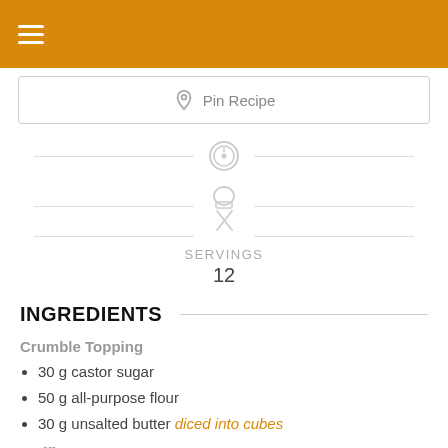☰ (hamburger menu icon)
[Figure (other): Pinterest Pin Recipe button with Pinterest logo icon]
[Figure (other): Servings icon (chef/cooking icon with divider lines) showing SERVINGS 12]
INGREDIENTS
Crumble Topping
30 g castor sugar
50 g all-purpose flour
30 g unsalted butter diced into cubes
Muffins
3 cups 385g plain flour